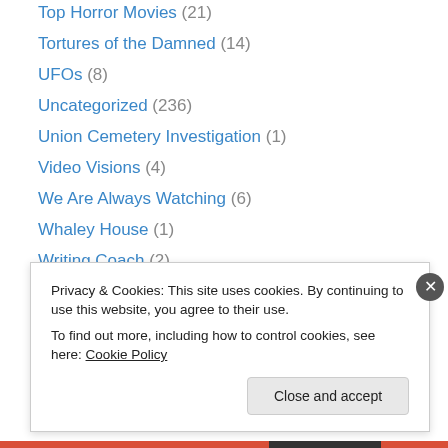Top Horror Movies (21)
Tortures of the Damned (14)
UFOs (8)
Uncategorized (236)
Union Cemetery Investigation (1)
Video Visions (4)
We Are Always Watching (6)
Whaley House (1)
Writing Coach (2)
[Figure (logo): WordPress logo in advertisement box]
Privacy & Cookies: This site uses cookies. By continuing to use this website, you agree to their use. To find out more, including how to control cookies, see here: Cookie Policy